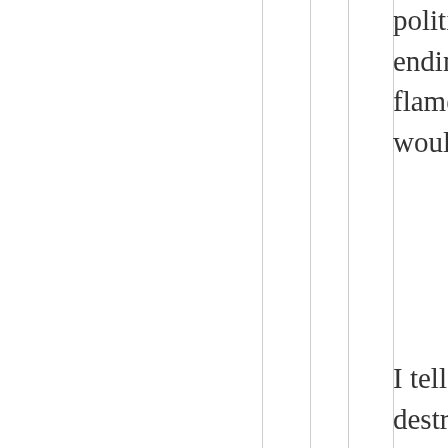politicians seeking the spotlight as a champion for ending it? Where is the media that could stoke the flames against this issue overnight if they only would?
I tell you where they are. They are busily trying to destroy Donald Trump's presidency with propaganda and hate.
This country needs to focus on slavery that is occurring today instead of something that happened a century and a half ago and was settled via war. That war is over. For crying out loud, Quit fighting it!